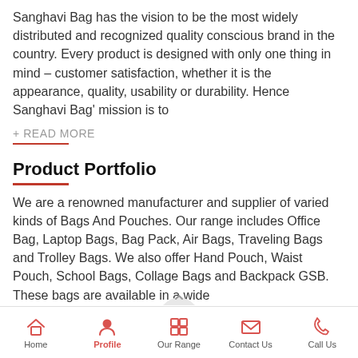Sanghavi Bag has the vision to be the most widely distributed and recognized quality conscious brand in the country. Every product is designed with only one thing in mind – customer satisfaction, whether it is the appearance, quality, usability or durability. Hence Sanghavi Bag' mission is to
+ READ MORE
Product Portfolio
We are a renowned manufacturer and supplier of varied kinds of Bags And Pouches. Our range includes Office Bag, Laptop Bags, Bag Pack, Air Bags, Traveling Bags and Trolley Bags. We also offer Hand Pouch, Waist Pouch, School Bags, Collage Bags and Backpack GSB. These bags are available in a wide
Home | Profile | Our Range | Contact Us | Call Us